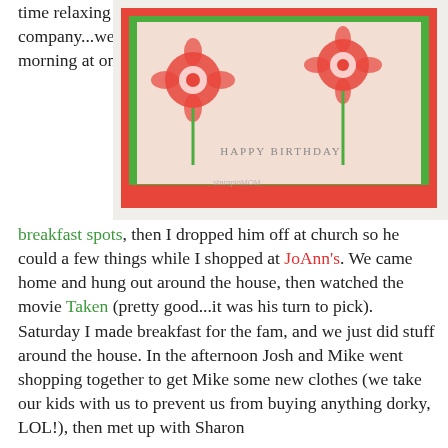time relaxing and enjoying one another's company...we went to breakfast on Friday morning at one of our favorite breakfast spots, then I dropped him off at church so he could a few things while I shopped at JoAnn's. We came home and hung out around the house, then watched the movie Taken (pretty good...it was his turn to pick). Saturday I made breakfast for the fam, and we just did stuff around the house. In the afternoon Josh and Mike went shopping together to get Mike some new clothes (we take our kids with us to prevent us from buying anything dorky, LOL!), then met up with Sharon for some yummy Mexican food. As usual the weekend flew by (hate that!), but it was fun!

Today at work we
[Figure (photo): A handmade birthday card with pink/red flowers on a green and pink background with 'HAPPY BIRTHDAY' text]
[Figure (photo): A gift basket with green handles containing colorful wrapped gifts and pink items]